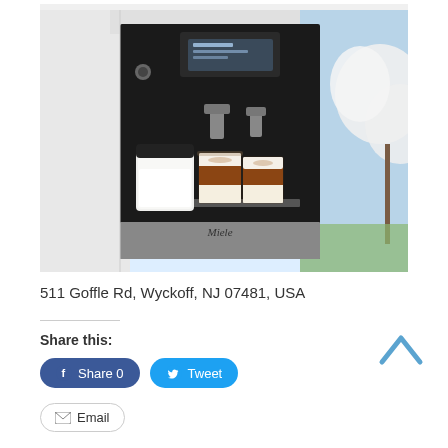[Figure (photo): Built-in Miele espresso/coffee machine installed in white kitchen cabinetry, with two glass cups of layered latte and a milk frother container in the foreground; outdoor spring trees visible in background.]
511 Goffle Rd, Wyckoff, NJ 07481, USA
Share this:
Share 0
Tweet
Email